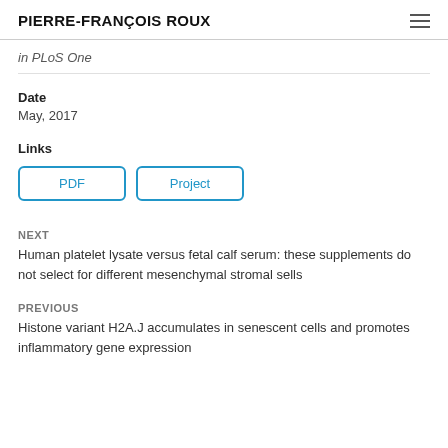PIERRE-FRANÇOIS ROUX
in PLoS One
Date
May, 2017
Links
PDF  Project
NEXT
Human platelet lysate versus fetal calf serum: these supplements do not select for different mesenchymal stromal sells
PREVIOUS
Histone variant H2A.J accumulates in senescent cells and promotes inflammatory gene expression